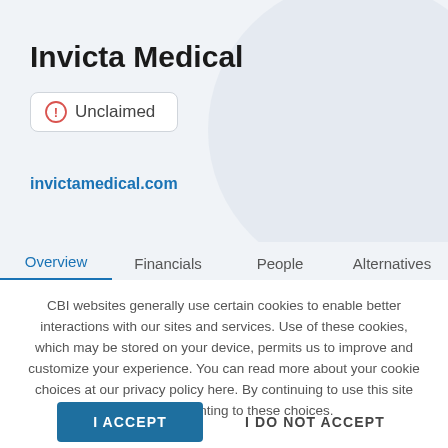Invicta Medical
⊙ Unclaimed
invictamedical.com
Overview   Financials   People   Alternatives
CBI websites generally use certain cookies to enable better interactions with our sites and services. Use of these cookies, which may be stored on your device, permits us to improve and customize your experience. You can read more about your cookie choices at our privacy policy here. By continuing to use this site you are consenting to these choices.
I ACCEPT
I DO NOT ACCEPT